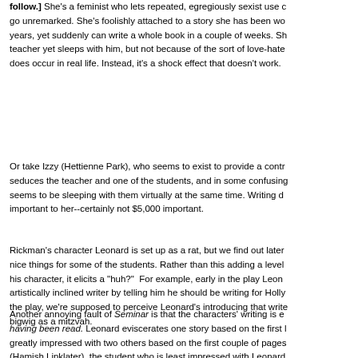follow.] She's a feminist who lets repeated, egregiously sexist use go unremarked. She's foolishly attached to a story she has been working on for years, yet suddenly can write a whole book in a couple of weeks. She hates her teacher yet sleeps with him, but not because of the sort of love-hate dynamic that does occur in real life. Instead, it's a shock effect that doesn't work.
Or take Izzy (Hettienne Park), who seems to exist to provide a contrast. She seduces the teacher and one of the students, and in some confusing chronology seems to be sleeping with them virtually at the same time. Writing doesn't seem important to her--certainly not $5,000 important.
Rickman's character Leonard is set up as a rat, but we find out later he does nice things for some of the students. Rather than this adding a level of complexity to his character, it elicits a "huh?" For example, early in the play Leonard discourages an artistically inclined writer by telling him he should be writing for Hollywood. Later in the play, we're supposed to perceive Leonard's introducing that writer to a Hollywood bigwig as a mitzvah.
Another annoying fault of Seminar is that the characters' writing is evaluated without having been read. Leonard eviscerates one story based on the first line, and is greatly impressed with two others based on the first couple of pages. Meanwhile, Martin (Hamish Linklater), the student who is least impressed with Leonard, becomes convinced that Leonard has written a great book based on, yes, the first couple of pages.